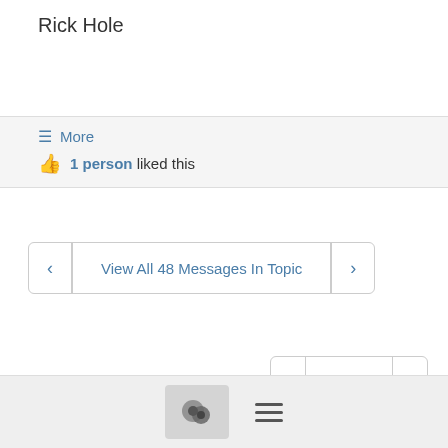Rick Hole
Show quoted text
More
1 person liked this
View All 48 Messages In Topic
#50116
Join main@Q-List.groups.io to automatically receive all group messages.